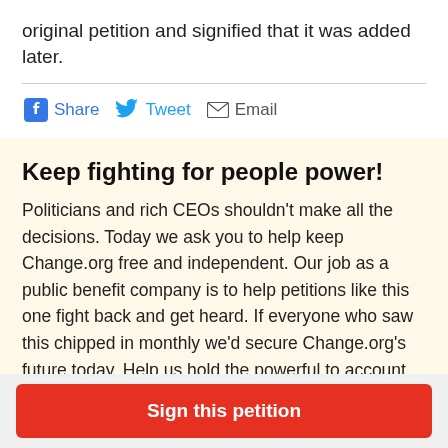original petition and signified that it was added later.
Share  Tweet  Email
Keep fighting for people power!
Politicians and rich CEOs shouldn't make all the decisions. Today we ask you to help keep Change.org free and independent. Our job as a public benefit company is to help petitions like this one fight back and get heard. If everyone who saw this chipped in monthly we'd secure Change.org's future today. Help us hold the powerful to account. Can you spare a minute to become a member today?
Sign this petition